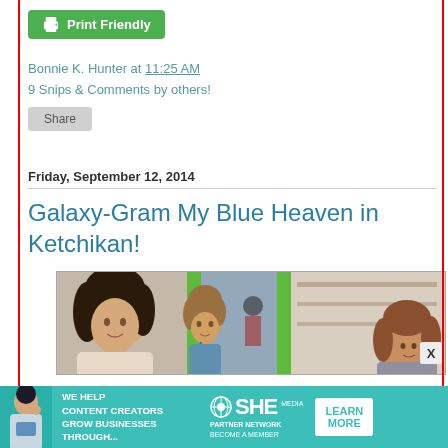Print Friendly
Bonnie K. Hunter at 11:25 AM
9 Snips & Comments by others!
Share
Friday, September 12, 2014
Galaxy-Gram My Blue Heaven in Ketchikan!
[Figure (photo): Three women smiling for a selfie in what appears to be a craft or quilt store with green display fixtures visible in the background]
[Figure (infographic): SHE Media Partner Network advertisement banner: 'WE HELP CONTENT CREATORS GROW BUSINESSES THROUGH...' with LEARN MORE button]